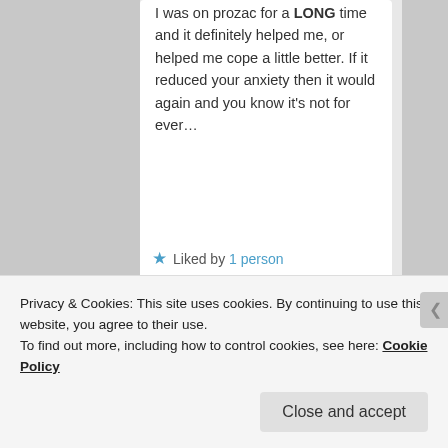I was on prozac for a LONG time and it definitely helped me, or helped me cope a little better. If it reduced your anxiety then it would again and you know it's not for ever…
★ Liked by 1 person
limetwiste on April 29, 2020 at 9:34 pm said:
Privacy & Cookies: This site uses cookies. By continuing to use this website, you agree to their use.
To find out more, including how to control cookies, see here: Cookie Policy